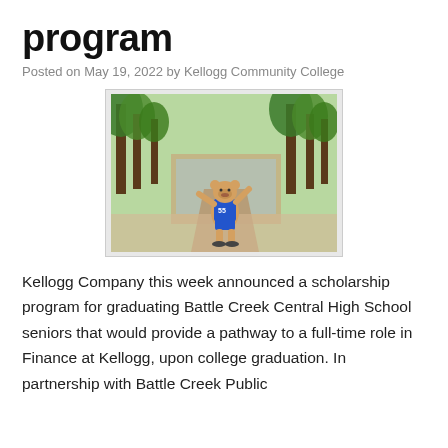program
Posted on May 19, 2022 by Kellogg Community College
[Figure (photo): A bear mascot in a blue jersey standing in a tree-lined campus walkway, waving, with a brick building in the background.]
Kellogg Company this week announced a scholarship program for graduating Battle Creek Central High School seniors that would provide a pathway to a full-time role in Finance at Kellogg, upon college graduation. In partnership with Battle Creek Public